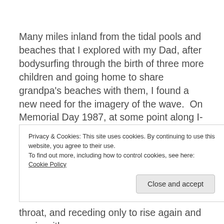Many miles inland from the tidal pools and beaches that I explored with my Dad, after bodysurfing through the birth of three more children and going home to share grandpa's beaches with them, I found a new need for the imagery of the wave.  On Memorial Day 1987, at some point along I-15 outside Scipio, Utah, my parent's van left the highway, slammed into an embankment, and burst into flames. When I was informed of the accident and death of my loved ones, there was no time to
Privacy & Cookies: This site uses cookies. By continuing to use this website, you agree to their use.
To find out more, including how to control cookies, see here: Cookie Policy
throat, and receding only to rise again and again with